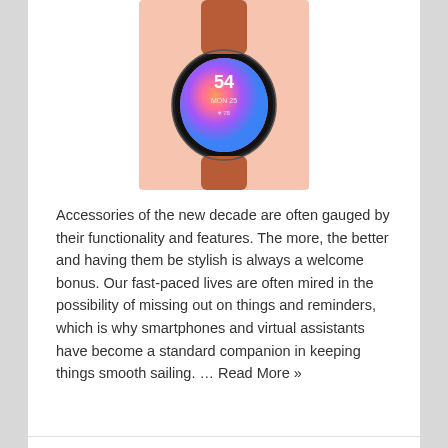[Figure (photo): A smartwatch with a colorful round display and brown/terracotta strap on a light pink background, partially visible at the top of the page]
Accessories of the new decade are often gauged by their functionality and features. The more, the better and having them be stylish is always a welcome bonus. Our fast-paced lives are often mired in the possibility of missing out on things and reminders, which is why smartphones and virtual assistants have become a standard companion in keeping things smooth sailing. … Read More »
Explore Extraordinary Designs of Gold Pendants for Women